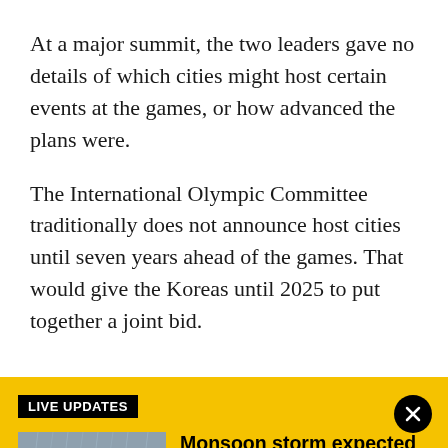At a major summit, the two leaders gave no details of which cities might host certain events at the games, or how advanced the plans were.
The International Olympic Committee traditionally does not announce host cities until seven years ahead of the games. That would give the Koreas until 2025 to put together a joint bid.
LIVE UPDATES
[Figure (photo): Cars driving on a wet road in rainy conditions, Phoenix area monsoon storm]
Monsoon storm expected to arrive in Phoenix area: Live radar, updates
The Phoenix area is expecting another round of monsoon storms as most of the state is under a flood watch through Saturday night. We have the latest on this round of wet weather.